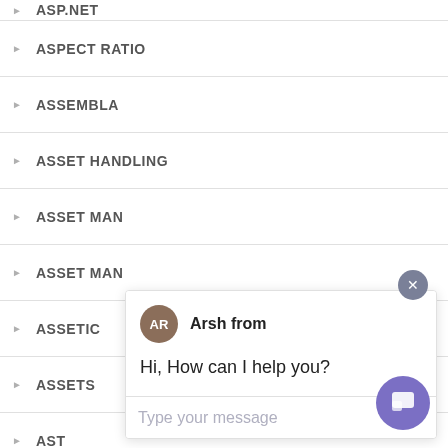ASP.NET
ASPECT RATIO
ASSEMBLA
ASSET HANDLING
ASSET MAN
ASSET MAN
ASSETIC
ASSETS
AST
ASYNC
[Figure (screenshot): Chat popup with agent Arsh, showing message 'Hi, How can I help you?' and a text input area. A close button (x) appears at top right. A purple chat trigger button appears at bottom right.]